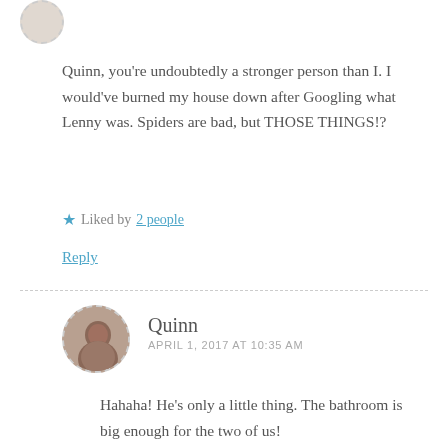[Figure (photo): Circular avatar image with dashed border, partially visible at the top of the page]
Quinn, you're undoubtedly a stronger person than I. I would've burned my house down after Googling what Lenny was. Spiders are bad, but THOSE THINGS!?
★ Liked by 2 people
Reply
[Figure (photo): Circular avatar photo of Quinn with dashed border]
Quinn
APRIL 1, 2017 AT 10:35 AM
Hahaha! He's only a little thing. The bathroom is big enough for the two of us!